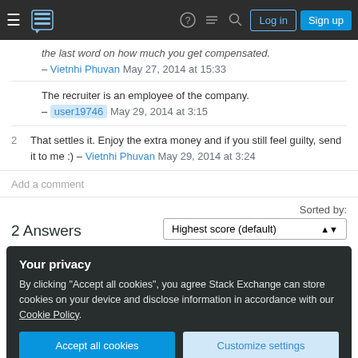Stack Exchange navigation bar with hamburger menu, logo, help icon, chat icon, search icon, Log in button, Sign up button
the last word on how much you get compensated. – Vietnhi Phuvan May 27, 2014 at 15:33
The recruiter is an employee of the company. – user19746 May 29, 2014 at 3:15
2 That settles it. Enjoy the extra money and if you still feel guilty, send it to me :) – Vietnhi Phuvan May 29, 2014 at 3:24
Add a comment
2 Answers
Sorted by: Highest score (default)
Your privacy
By clicking "Accept all cookies", you agree Stack Exchange can store cookies on your device and disclose information in accordance with our Cookie Policy.
Accept all cookies   Customize settings
began the search